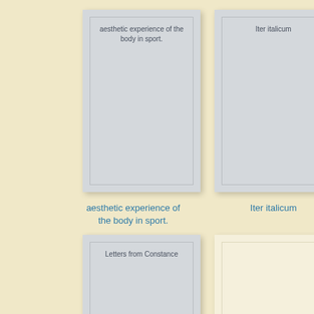[Figure (illustration): Book cover thumbnail - gray book with title 'aesthetic experience of the body in sport.']
[Figure (illustration): Book cover thumbnail - gray book with title 'Iter italicum']
aesthetic experience of the body in sport.
Iter italicum
[Figure (illustration): Book cover thumbnail - gray book with title 'Letters from Constance']
[Figure (illustration): Book cover thumbnail - cream/blank book with no visible title]